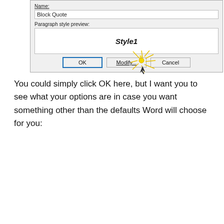[Figure (screenshot): Dialog box showing Name field with 'Block Quote', Paragraph style preview showing 'Style1', and buttons OK, Modify... (with sparkle/click highlight), Cancel]
You could simply click OK here, but I want you to see what your options are in case you want something other than the defaults Word will choose for you:
[Figure (screenshot): Create New Style from Formatting dialog box showing Properties section with Name: Block Quote (badge 1), Style type: Linked (paragraph and character) (badge 2), Style based on: Normal, Style for following paragraph: Block Quote (badge 3), Formatting section with Calibri (Body), 11, B, I, U, Automatic, alignment buttons (badge 7)]